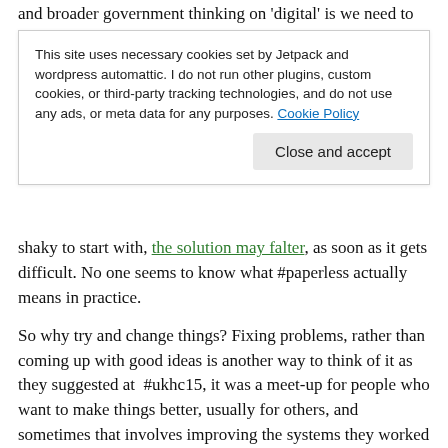and broader government thinking on 'digital' is we need to do
This site uses necessary cookies set by Jetpack and wordpress automattic. I do not run other plugins, custom cookies, or third-party tracking technologies, and do not use any ads, or meta data for any purposes. Cookie Policy
Close and accept
shaky to start with, the solution may falter, as soon as it gets difficult. No one seems to know what #paperless actually means in practice.
So why try and change things? Fixing problems, rather than coming up with good ideas is another way to think of it as they suggested at  #ukhc15, it was a meet-up for people who want to make things better, usually for others, and sometimes that involves improving the systems they worked with directly, or supported others in.
I no longer work in systems' introductions, or enhancement processes, although I have a lay role in research and admin